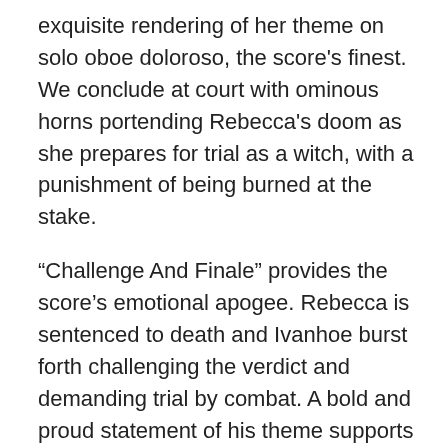exquisite rendering of her theme on solo oboe doloroso, the score's finest. We conclude at court with ominous horns portending Rebecca's doom as she prepares for trial as a witch, with a punishment of being burned at the stake.
“Challenge And Finale” provides the score’s emotional apogee. Rebecca is sentenced to death and Ivanhoe burst forth challenging the verdict and demanding trial by combat. A bold and proud statement of his theme supports his declaration and crests with a flourish, countered by the Norman Theme as Prince John appoints de Bois-Guilbert as his champion. We conclude the scene with proud affirmation of Ivanhoe’s Theme as he pledges his sword to Rebecca. At 1:44 the trial by combat assembles three day later outside at the Lists of Ashby supported by